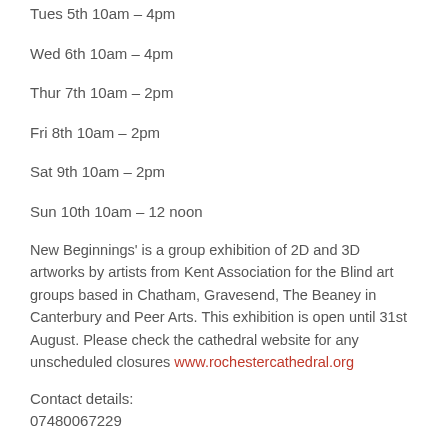Tues 5th 10am – 4pm
Wed 6th 10am – 4pm
Thur 7th 10am – 2pm
Fri 8th 10am – 2pm
Sat 9th 10am – 2pm
Sun 10th 10am – 12 noon
New Beginnings' is a group exhibition of 2D and 3D artworks by artists from Kent Association for the Blind art groups based in Chatham, Gravesend, The Beaney in Canterbury and Peer Arts. This exhibition is open until 31st August. Please check the cathedral website for any unscheduled closures www.rochestercathedral.org
Contact details:
07480067229